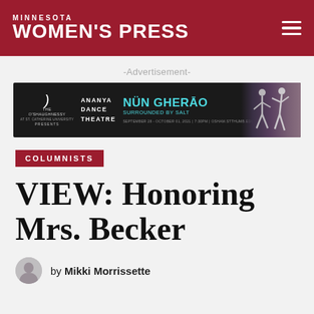Minnesota Women's Press
-Advertisement-
[Figure (illustration): Advertisement banner for The O'Shaughnessy presenting Ananya Dance Theatre: Nün Gherāo - Surrounded by Salt. September 28 - October 01, 2021 | 7:30PM | osham.stThumb.edu]
COLUMNISTS
VIEW: Honoring Mrs. Becker
by Mikki Morrissette